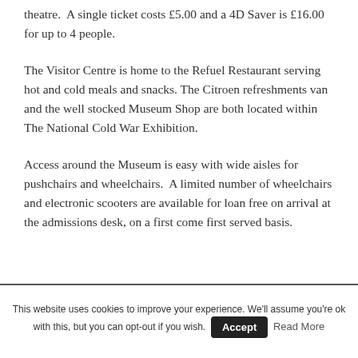theatre.  A single ticket costs £5.00 and a 4D Saver is £16.00 for up to 4 people.
The Visitor Centre is home to the Refuel Restaurant serving hot and cold meals and snacks. The Citroen refreshments van and the well stocked Museum Shop are both located within The National Cold War Exhibition.
Access around the Museum is easy with wide aisles for pushchairs and wheelchairs.  A limited number of wheelchairs and electronic scooters are available for loan free on arrival at the admissions desk, on a first come first served basis.
This website uses cookies to improve your experience. We'll assume you're ok with this, but you can opt-out if you wish. Accept  Read More